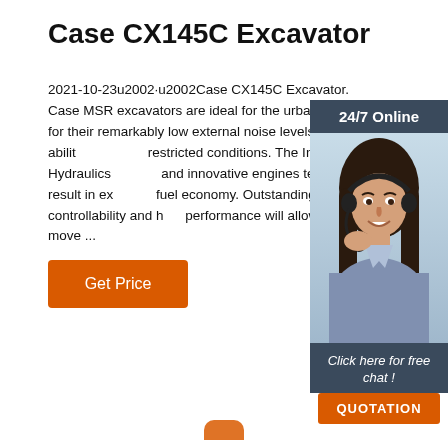Case CX145C Excavator
2021-10-23u2002·u2002Case CX145C Excavator. Case MSR excavators are ideal for the urban jobsite for their remarkably low external noise levels and ability restricted conditions. The Intelligent Hydraulics and innovative engines technology result in excellent fuel economy. Outstanding controllability and high performance will allow you to move ...
[Figure (photo): Customer service representative (woman with headset) with '24/7 Online' banner and 'Click here for free chat!' text with QUOTATION button]
Get Price